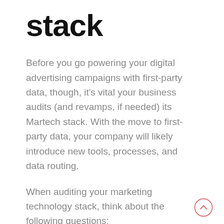stack
Before you go powering your digital advertising campaigns with first-party data, though, it’s vital your business audits (and revamps, if needed) its Martech stack. With the move to first-party data, your company will likely introduce new tools, processes, and data routing.
When auditing your marketing technology stack, think about the following questions:
Are there gaps in where we’re collecting data?